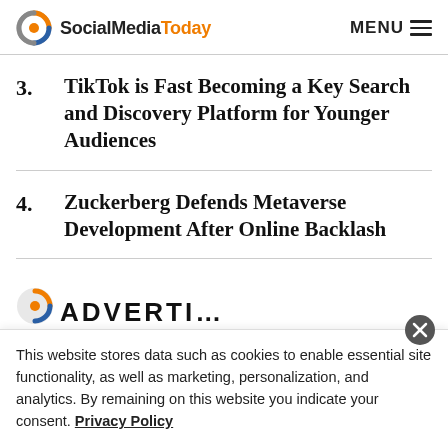SocialMediaToday | MENU
3. TikTok is Fast Becoming a Key Search and Discovery Platform for Younger Audiences
4. Zuckerberg Defends Metaverse Development After Online Backlash
This website stores data such as cookies to enable essential site functionality, as well as marketing, personalization, and analytics. By remaining on this website you indicate your consent. Privacy Policy